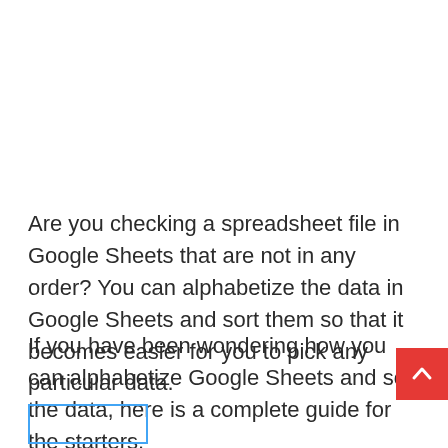Are you checking a spreadsheet file in Google Sheets that are not in any order? You can alphabetize the data in Google Sheets and sort them so that it becomes easier for you to pick any particular data.
If you have been wondering how you can alphabetize Google Sheets and sort the data, here is a complete guide for the starters.